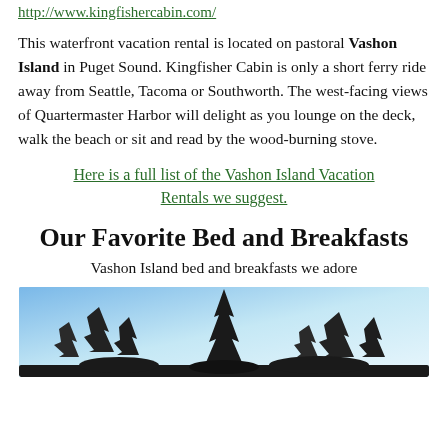http://www.kingfishercabin.com/
This waterfront vacation rental is located on pastoral Vashon Island in Puget Sound. Kingfisher Cabin is only a short ferry ride away from Seattle, Tacoma or Southworth. The west-facing views of Quartermaster Harbor will delight as you lounge on the deck, walk the beach or sit and read by the wood-burning stove.
Here is a full list of the Vashon Island Vacation Rentals we suggest.
Our Favorite Bed and Breakfasts
Vashon Island bed and breakfasts we adore
[Figure (photo): Outdoor scene with tree silhouettes against a blue-to-white gradient sky, likely a waterfront or nature scene on Vashon Island.]